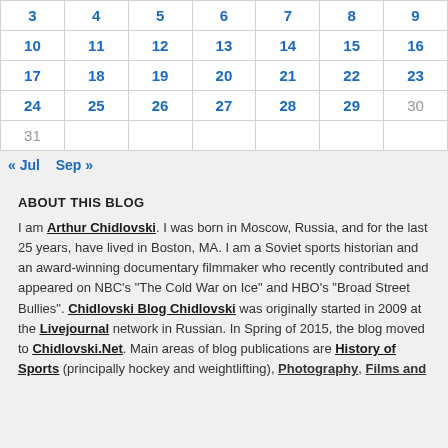| 3 | 4 | 5 | 6 | 7 | 8 | 9 |
| 10 | 11 | 12 | 13 | 14 | 15 | 16 |
| 17 | 18 | 19 | 20 | 21 | 22 | 23 |
| 24 | 25 | 26 | 27 | 28 | 29 | 30 |
| 31 |  |  |  |  |  |  |
« Jul  Sep »
ABOUT THIS BLOG
I am Arthur Chidlovski. I was born in Moscow, Russia, and for the last 25 years, have lived in Boston, MA. I am a Soviet sports historian and an award-winning documentary filmmaker who recently contributed and appeared on NBC's "The Cold War on Ice" and HBO's "Broad Street Bullies". Chidlovski Blog Chidlovski was originally started in 2009 at the Livejournal network in Russian. In Spring of 2015, the blog moved to Chidlovski.Net. Main areas of blog publications are History of Sports (principally hockey and weightlifting), Photography, Films and...